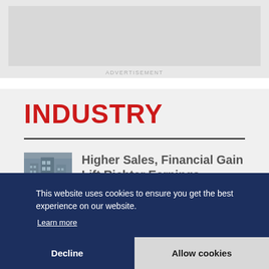[Figure (other): Advertisement banner placeholder area with grey background]
ADVERTISEMENT
INDUSTRY
[Figure (photo): Thumbnail photo of a building with glass facade]
Higher Sales, Financial Gain Lift Richter Earnings
This website uses cookies to ensure you get the best experience on our website.
Learn more
Decline
Allow cookies